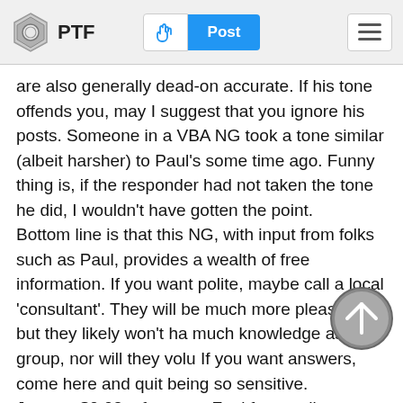PTF | Post
are also generally dead-on accurate. If his tone offends you, may I suggest that you ignore his posts. Someone in a VBA NG took a tone similar (albeit harsher) to Paul's some time ago. Funny thing is, if the responder had not taken the tone he did, I wouldn't have gotten the point.
Bottom line is that this NG, with input from folks such as Paul, provides a wealth of free information. If you want polite, maybe call a local 'consultant'. They will be much more pleasant, but they likely won't ha much knowledge as this group, nor will they volu If you want answers, come here and quit being so sensitive.
Just my $0.02, of course. Feel free to disagree with